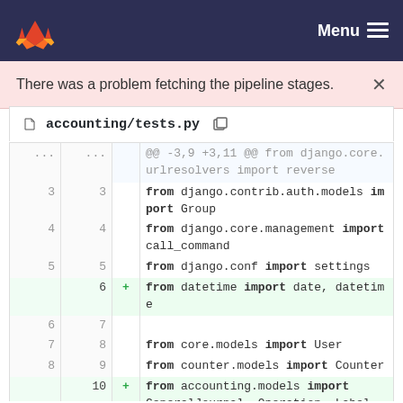GitLab navigation bar with Menu
There was a problem fetching the pipeline stages.
accounting/tests.py
[Figure (screenshot): Code diff view showing changes to accounting/tests.py, adding imports for datetime and accounting.models]
@@ -3,9 +3,11 @@ from django.core.urlresolvers import reverse
3 3 from django.contrib.auth.models import Group
4 4 from django.core.management import call_command
5 5 from django.conf import settings
+ 6 from datetime import date, datetime
6 7 
7 8 from core.models import User
8 9 from counter.models import Counter
+ 10 from accounting.models import GeneralJournal, Operation, Label, AccountingType, SimplifiedAccountingType